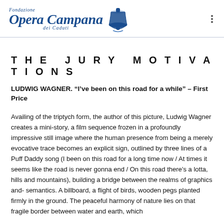[Figure (logo): Fondazione Opera Campana dei Caduti logo with stylized italic text and bell icon]
THE JURY MOTIVATIONS
LUDWIG WAGNER. “I’ve been on this road for a while” – First Price
Availing of the triptych form, the author of this picture, Ludwig Wagner creates a mini-story, a film sequence frozen in a profoundly impressive still image where the human presence from being a merely evocative trace becomes an explicit sign, outlined by three lines of a Puff Daddy song (I been on this road for a long time now / At times it seems like the road is never gonna end / On this road there’s a lotta, hills and mountains), building a bridge between the realms of graphics and- semantics. A billboard, a flight of birds, wooden pegs planted firmly in the ground. The peaceful harmony of nature lies on that fragile border between water and earth, which